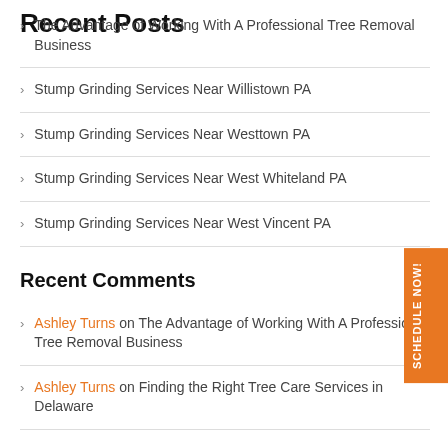Recent Posts
The Advantage of Working With A Professional Tree Removal Business
Stump Grinding Services Near Willistown PA
Stump Grinding Services Near Westtown PA
Stump Grinding Services Near West Whiteland PA
Stump Grinding Services Near West Vincent PA
Recent Comments
Ashley Turns on The Advantage of Working With A Professional Tree Removal Business
Ashley Turns on Finding the Right Tree Care Services in Delaware
Archives